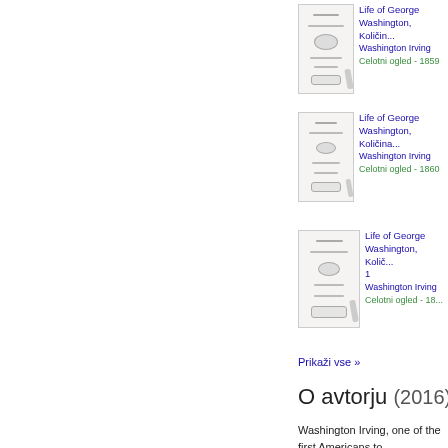[Figure (illustration): Book cover thumbnail for Life of George Washington, first entry]
Life of George Washington, Količin...
Washington Irving
Celotni ogled - 1859
[Figure (illustration): Book cover thumbnail for Life of George Washington, second entry]
Life of George Washington, Količina...
Washington Irving
Celotni ogled - 1860
[Figure (illustration): Book cover thumbnail for Life of George Washington, third entry]
Life of George Washington, Količ...
1
Washington Irving
Celotni ogled - 18...
Prikaži vse »
O avtorju (2016)
Washington Irving, one of the first Americans to